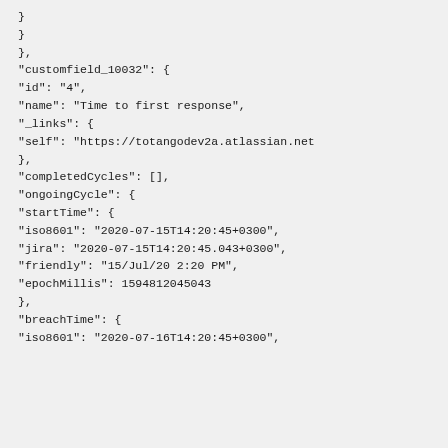}
}
},
"customfield_10032": {
"id": "4",
"name": "Time to first response",
"_links": {
"self": "https://totangodev2a.atlassian.net
},
"completedCycles": [],
"ongoingCycle": {
"startTime": {
"iso8601": "2020-07-15T14:20:45+0300",
"jira": "2020-07-15T14:20:45.043+0300",
"friendly": "15/Jul/20 2:20 PM",
"epochMillis": 1594812045043
},
"breachTime": {
"iso8601": "2020-07-16T14:20:45+0300",